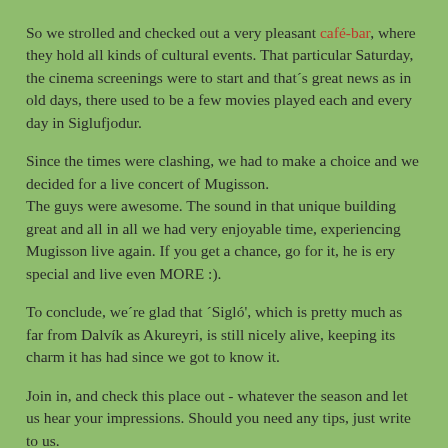So we strolled and checked out a very pleasant café-bar, where they hold all kinds of cultural events. That particular Saturday, the cinema screenings were to start and that´s great news as in old days, there used to be a few movies played each and every day in Siglufjodur.
Since the times were clashing, we had to make a choice and we decided for a live concert of Mugisson.
The guys were awesome. The sound in that unique building great and all in all we had very enjoyable time, experiencing Mugisson live again. If you get a chance, go for it, he is ery special and live even MORE :).
To conclude, we´re glad that ´Sigló', which is pretty much as far from Dalvík as Akureyri, is still nicely alive, keeping its charm it has had since we got to know it.
Join in, and check this place out - whatever the season and let us hear your impressions. Should you need any tips, just write to us.
your Go LOCAL team